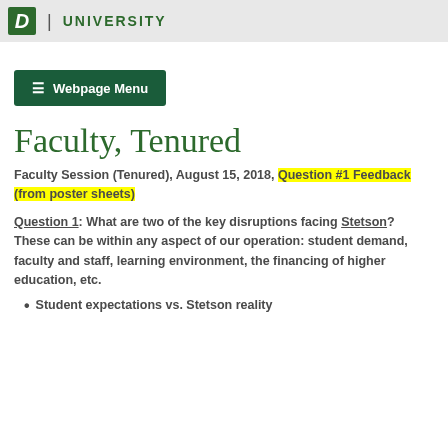D. | UNIVERSITY
[Figure (other): Webpage Menu button with hamburger icon, dark green background]
Faculty, Tenured
Faculty Session (Tenured), August 15, 2018, Question #1 Feedback (from poster sheets)
Question 1: What are two of the key disruptions facing Stetson? These can be within any aspect of our operation: student demand, faculty and staff, learning environment, the financing of higher education, etc.
Student expectations vs. Stetson reality